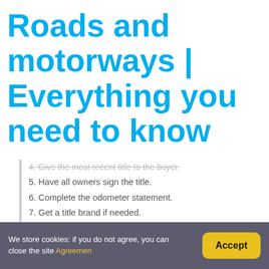Roads and motorways | Everything you need to know
4. Give the most recent title to the buyer.
5. Have all owners sign the title.
6. Complete the odometer statement.
7. Get a title brand if needed.
8. Take your plates off the vehicle to avoid tickets.
Can I get my money back from DMV?
We store cookies: if you do not agree, you can close the site Agreemen
Accept